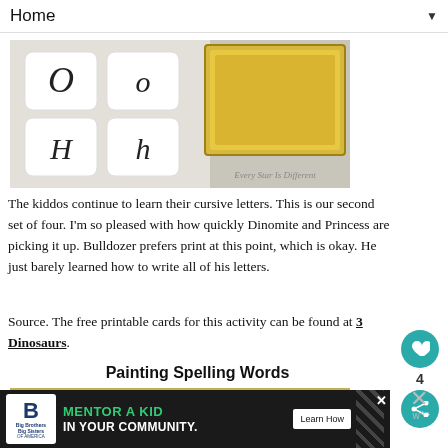Home ▼
[Figure (photo): Cursive letter cards showing uppercase and lowercase O and H letters, with a golden sand tray in the background. Watermark: Every Star Is Different]
The kiddos continue to learn their cursive letters. This is our second set of four. I'm so pleased with how quickly Dinomite and Princess are picking it up. Bulldozer prefers print at this point, which is okay. He just barely learned how to write all of his letters.
Source. The free printable cards for this activity can be found at 3 Dinosaurs.
Painting Spelling Words
[Figure (photo): Golden tray with a blue bottle and white cards for painting spelling words activity]
[Figure (photo): Advertisement banner: Big Brothers Big Sisters - MENTOR A KID IN YOUR COMMUNITY. Learn How button.]